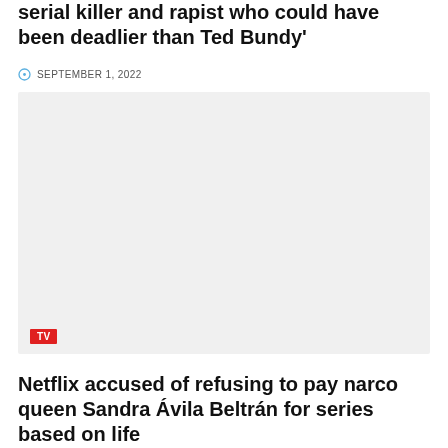serial killer and rapist who could have been deadlier than Ted Bundy'
SEPTEMBER 1, 2022
[Figure (photo): Large light gray placeholder image block with a red 'TV' category badge in the bottom-left corner]
Netflix accused of refusing to pay narco queen Sandra Ávila Beltrán for series based on life